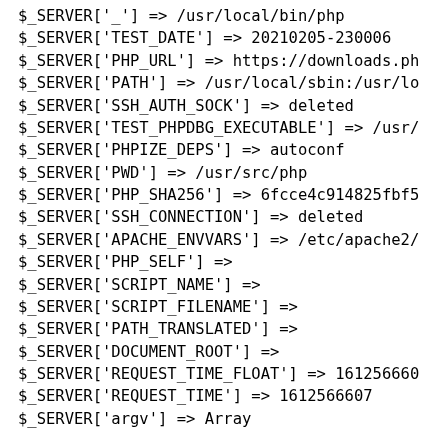$_SERVER['_'] => /usr/local/bin/php
$_SERVER['TEST_DATE'] => 20210205-230006
$_SERVER['PHP_URL'] => https://downloads.ph
$_SERVER['PATH'] => /usr/local/sbin:/usr/lo
$_SERVER['SSH_AUTH_SOCK'] => deleted
$_SERVER['TEST_PHPDBG_EXECUTABLE'] => /usr/
$_SERVER['PHPIZE_DEPS'] => autoconf
$_SERVER['PWD'] => /usr/src/php
$_SERVER['PHP_SHA256'] => 6fcce4c914825fbf5
$_SERVER['SSH_CONNECTION'] => deleted
$_SERVER['APACHE_ENVVARS'] => /etc/apache2/
$_SERVER['PHP_SELF'] =>
$_SERVER['SCRIPT_NAME'] =>
$_SERVER['SCRIPT_FILENAME'] =>
$_SERVER['PATH_TRANSLATED'] =>
$_SERVER['DOCUMENT_ROOT'] =>
$_SERVER['REQUEST_TIME_FLOAT'] => 161256660
$_SERVER['REQUEST_TIME'] => 1612566607
$_SERVER['argv'] => Array